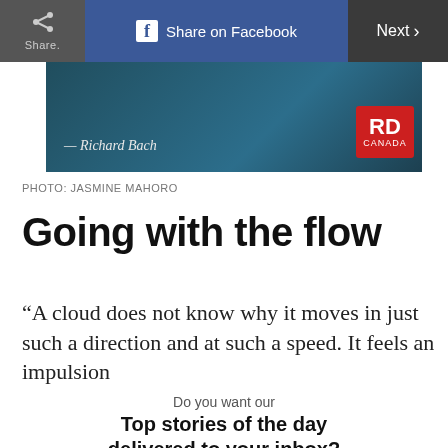Share | Share on Facebook | Next
[Figure (photo): Dark teal/blue background image with text '— Richard Bach' and RD Canada logo in bottom right]
PHOTO: JASMINE MAHORO
Going with the flow
“A cloud does not know why it moves in just such a direction and at such a speed. It feels an impulsion
Do you want our
Top stories of the day delivered to your inbox?
YES PLEASE!
NO THANKS